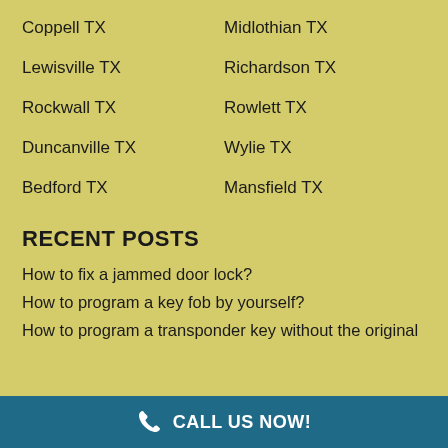Coppell TX
Midlothian TX
Lewisville TX
Richardson TX
Rockwall TX
Rowlett TX
Duncanville TX
Wylie TX
Bedford TX
Mansfield TX
RECENT POSTS
How to fix a jammed door lock?
How to program a key fob by yourself?
How to program a transponder key without the original
CALL US NOW!